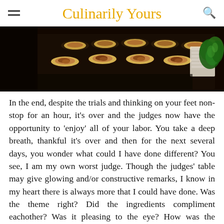Culinarily Yours
[Figure (photo): Overhead view of a catering table in a dark setting with multiple plates of food arranged in rows, with green garnish visible on the right side.]
In the end, despite the trials and thinking on your feet non-stop for an hour, it's over and the judges now have the opportunity to 'enjoy' all of your labor. You take a deep breath, thankful it's over and then for the next several days, you wonder what could I have done different? You see, I am my own worst judge. Though the judges' table may give glowing and/or constructive remarks, I know in my heart there is always more that I could have done. Was the theme right? Did the ingredients compliment eachother? Was it pleasing to the eye? How was the balance? Bottom line, did it